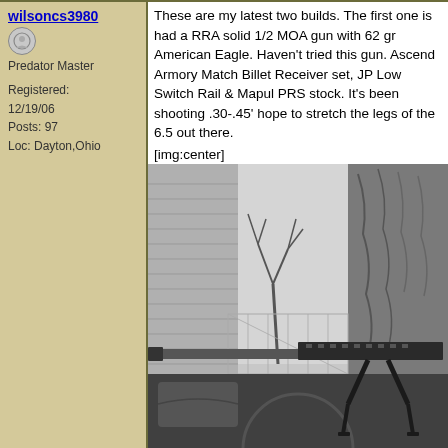wilsoncs3980
Predator Master
Registered: 12/19/06
Posts: 97
Loc: Dayton,Ohio
These are my latest two builds. The first one is had a RRA solid 1/2 MOA gun with 62 gr American Eagle. Haven't tried this gun. Ascend Armory Match Billet Receiver set, JP Low Switch Rail & Mapul PRS stock. It's been shooting .30-.45" hope to stretch the legs of the 6.5 out there.
[img:center]
[Figure (photo): Black and white outdoor photo showing a precision rifle with bipod resting on a surface, with trees, a building with siding, and chain-link fence in background.]